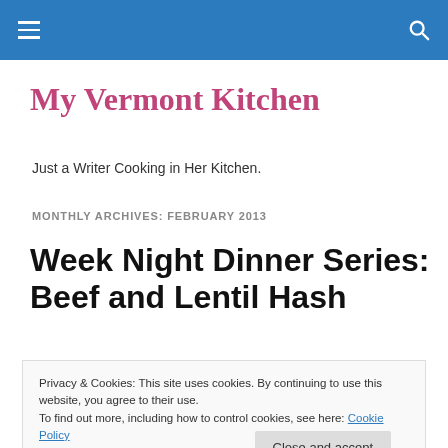My Vermont Kitchen — site header navigation bar
My Vermont Kitchen
Just a Writer Cooking in Her Kitchen.
MONTHLY ARCHIVES: FEBRUARY 2013
Week Night Dinner Series: Beef and Lentil Hash
Privacy & Cookies: This site uses cookies. By continuing to use this website, you agree to their use.
To find out more, including how to control cookies, see here: Cookie Policy
certainly am one for opening up a jar of spaghetti sauce